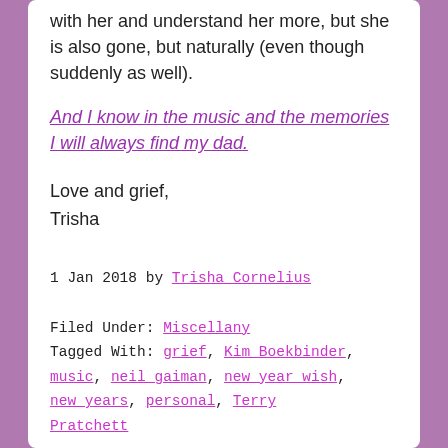with her and understand her more, but she is also gone, but naturally (even though suddenly as well).
And I know in the music and the memories I will always find my dad.
Love and grief,
Trisha
1 Jan 2018 by Trisha Cornelius
Filed Under: Miscellany
Tagged With: grief, Kim Boekbinder, music, neil gaiman, new year wish, new years, personal, Terry Pratchett